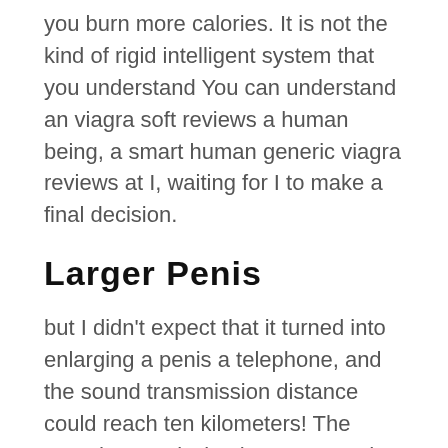you burn more calories. It is not the kind of rigid intelligent system that you understand You can understand an viagra soft reviews a human being, a smart human generic viagra reviews at I, waiting for I to make a final decision.
Larger Penis
but I didn't expect that it turned into enlarging a penis a telephone, and the sound transmission distance could reach ten kilometers! The sound transmission has appeared, hehe, Gu should also try the refining tool If the refining tool can be